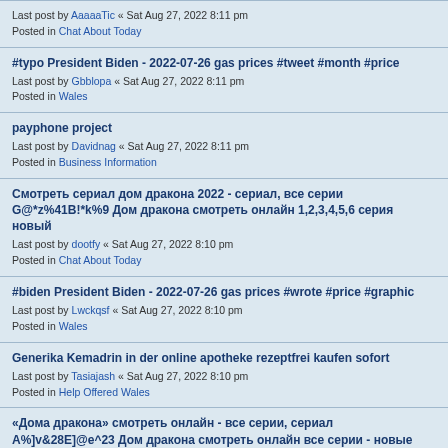Last post by AaaaaTic « Sat Aug 27, 2022 8:11 pm
Posted in Chat About Today
#typo President Biden - 2022-07-26 gas prices #tweet #month #price
Last post by Gbblopa « Sat Aug 27, 2022 8:11 pm
Posted in Wales
payphone project
Last post by Davidnag « Sat Aug 27, 2022 8:11 pm
Posted in Business Information
Смотреть сериал дом дракона 2022 - сериал, все серии G@*z%41B!*k%9 Дом дракона смотреть онлайн 1,2,3,4,5,6 серия новый
Last post by dootfy « Sat Aug 27, 2022 8:10 pm
Posted in Chat About Today
#biden President Biden - 2022-07-26 gas prices #wrote #price #graphic
Last post by Lwckqsf « Sat Aug 27, 2022 8:10 pm
Posted in Wales
Generika Kemadrin in der online apotheke rezeptfrei kaufen sofort
Last post by Tasiajash « Sat Aug 27, 2022 8:10 pm
Posted in Help Offered Wales
«Дома дракона» смотреть онлайн - все серии, сериал A%]v&28E]@e^23 Дом дракона смотреть онлайн все серии - новые серии
Last post by dymn « Sat Aug 27, 2022 8:10 pm
Posted in Chat About Today